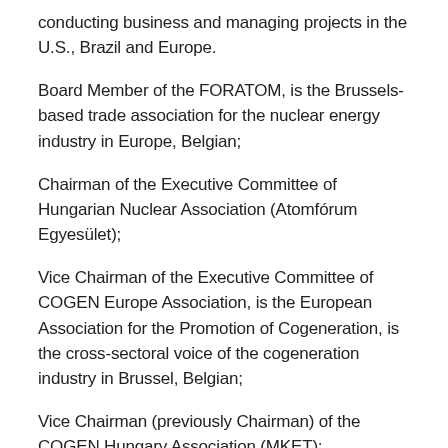conducting business and managing projects in the U.S., Brazil and Europe.
Board Member of the FORATOM, is the Brussels-based trade association for the nuclear energy industry in Europe, Belgian;
Chairman of the Executive Committee of Hungarian Nuclear Association (Atomfórum Egyesület);
Vice Chairman of the Executive Committee of COGEN Europe Association, is the European Association for the Promotion of Cogeneration, is the cross-sectoral voice of the cogeneration industry in Brussel, Belgian;
Vice Chairman (previously Chairman) of the COGEN Hungary Association (MKET);
Member of the Hungarian Scientific Energy Association of Hungary (ETE);